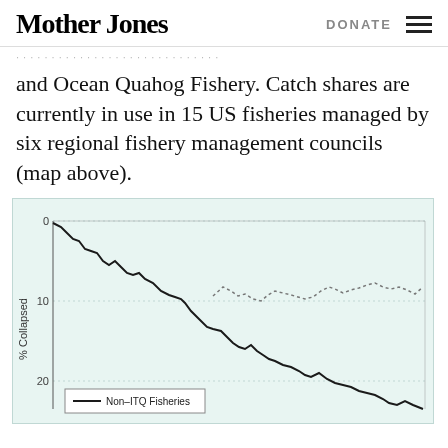Mother Jones | DONATE
and Ocean Quahog Fishery. Catch shares are currently in use in 15 US fisheries managed by six regional fishery management councils (map above).
[Figure (continuous-plot): Line chart showing % Collapsed over time for Non-ITQ Fisheries (solid line, trending downward steeply) and a dotted line series (relatively flat/slightly wavy around 8-12%), with y-axis labeled '% Collapsed' showing values 0, 10, 20. Background is light teal/mint. Legend shows 'Non-ITQ Fisheries' with a solid line.]